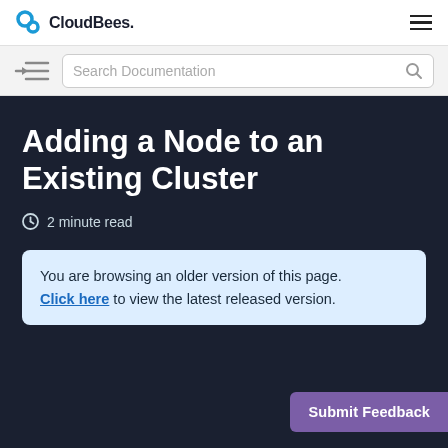CloudBees.
[Figure (screenshot): CloudBees logo with blue icon and bold text]
[Figure (screenshot): Search Documentation input bar with search icon and hamburger/sidebar menu icon]
Adding a Node to an Existing Cluster
2 minute read
You are browsing an older version of this page. Click here to view the latest released version.
Submit Feedback